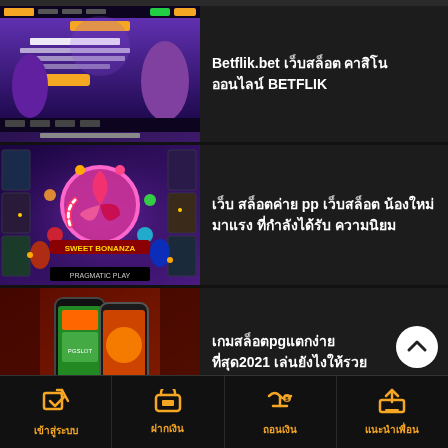[Figure (screenshot): Betflik.bet online casino website screenshot with purple/dark theme showing women in promotional banner]
Betflik.bet เว็บสล็อต คาสิโน ออนไลน์ BETFLIK
[Figure (screenshot): Sweet Bonanza slot game by Pragmatic Play with colorful candy theme on dark purple background]
เว็บ สล็อตค่าย pp เว็บสล็อต น้องใหม่มาแรง ที่กำลังได้รับความนิยม
[Figure (screenshot): PG Slot review banner with red background showing slot game graphics and Thai text รีวิว PGSLOT แตกง่าย]
เกมสล็อตpgแตกง่าย ที่สุด2021 เล่นยังไงให้รวย
เข้าสู่ระบบ | ฝากเงิน | ถอนเงิน | แนะนำเพื่อน